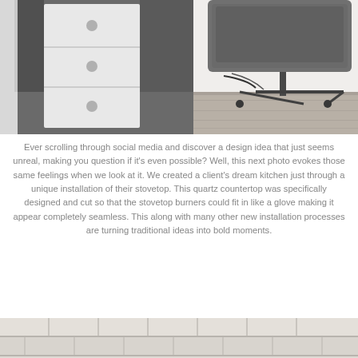[Figure (photo): Interior photo showing a white drawer unit/pedestal with circular handles next to a gray upholstered office chair on a wood-look floor]
Ever scrolling through social media and discover a design idea that just seems unreal, making you question if it's even possible? Well, this next photo evokes those same feelings when we look at it. We created a client's dream kitchen just through a unique installation of their stovetop. This quartz countertop was specifically designed and cut so that the stovetop burners could fit in like a glove making it appear completely seamless. This along with many other new installation processes are turning traditional ideas into bold moments.
[Figure (photo): Close-up photo of light-colored rectangular tiles with gray grout lines arranged in a horizontal pattern]